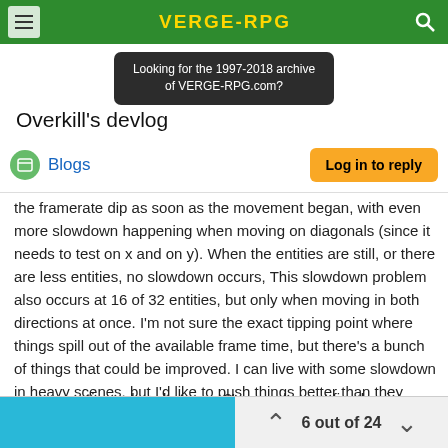VERGE-RPG
Looking for the 1997-2018 archive of VERGE-RPG.com?
Overkill's devlog
Blogs
Log in to reply
the framerate dip as soon as the movement began, with even more slowdown happening when moving on diagonals (since it needs to test on x and on y). When the entities are still, or there are less entities, no slowdown occurs, This slowdown problem also occurs at 16 of 32 entities, but only when moving in both directions at once. I'm not sure the exact tipping point where things spill out of the available frame time, but there's a bunch of things that could be improved. I can live with some slowdown in heavy scenes, but I'd like to push things better than they stand right now.
I need to measure things better, but there's a quite a few steps involved:
converting values between 2's complement fixed-point
6 out of 24